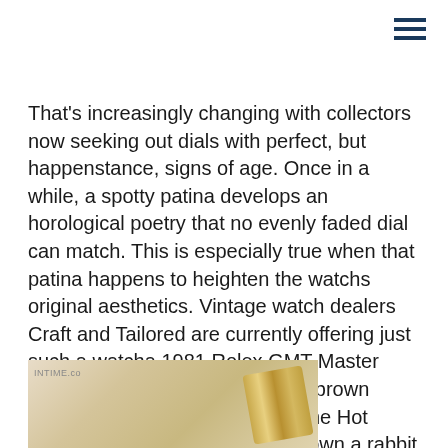That's increasingly changing with collectors now seeking out dials with perfect, but happenstance, signs of age. Once in a while, a spotty patina develops an horological poetry that no evenly faded dial can match. This is especially true when that patina happens to heighten the watchs original aesthetics. Vintage watch dealers Craft and Tailored are currently offering just such a watcha 1981 Rolex GMT Master Ref. 16785 in yellow gold with a brown bezel. They have nicknamed it the Hot Lava, but if you feel like going down a rabbit hole, head over to their Instagram (@craftandtailored) to join in on the naming contest and see some of the rather funny suggestions from followers.
[Figure (photo): Partial view of a gold Rolex watch bracelet against a light background, with INTIME.co branding visible in the top-left corner of the image]